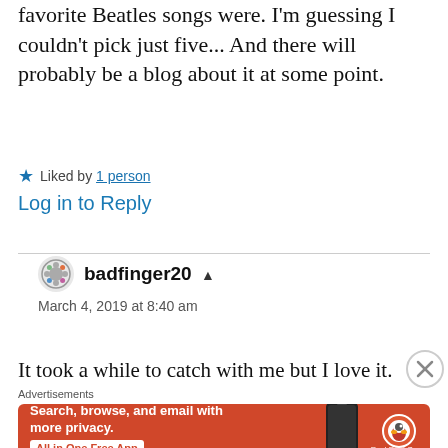favorite Beatles songs were. I'm guessing I couldn't pick just five... And there will probably be a blog about it at some point.
★ Liked by 1 person
Log in to Reply
badfinger20 ▲
March 4, 2019 at 8:40 am
It took a while to catch with me but I love it.
[Figure (other): DuckDuckGo advertisement banner: orange background with text 'Search, browse, and email with more privacy. All in One Free App' and DuckDuckGo logo with phone graphic]